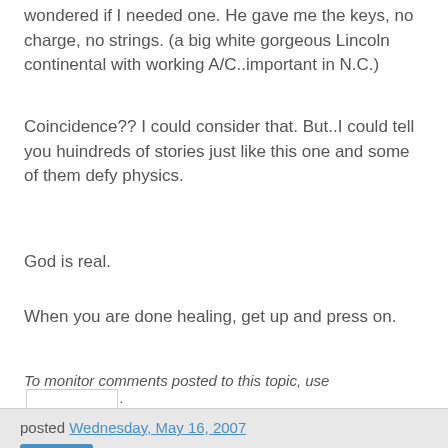wondered if I needed one. He gave me the keys, no charge, no strings. (a big white gorgeous Lincoln continental with working A/C..important in N.C.)
Coincidence?? I could consider that. But..I could tell you huindreds of stories just like this one and some of them defy physics.
God is real.
When you are done healing, get up and press on.
To monitor comments posted to this topic, use [input field].
posted Wednesday, May 16, 2007
Share
ExChristian.Net -- encouraging ex-Christians Comment Policy